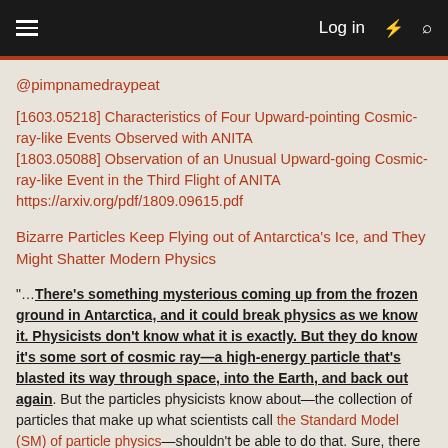≡   Log in ⚡ 🔍
@pimpnamedraypeat
[1603.05218] Characteristics of Four Upward-pointing Cosmic-ray-like Events Observed with ANITA
[1803.05088] Observation of an Unusual Upward-going Cosmic-ray-like Event in the Third Flight of ANITA
https://arxiv.org/pdf/1809.09615.pdf
Bizarre Particles Keep Flying out of Antarctica's Ice, and They Might Shatter Modern Physics
"…There's something mysterious coming up from the frozen ground in Antarctica, and it could break physics as we know it. Physicists don't know what it is exactly. But they do know it's some sort of cosmic ray—a high-energy particle that's blasted its way through space, into the Earth, and back out again. But the particles physicists know about—the collection of particles that make up what scientists call the Standard Model (SM) of particle physics—shouldn't be able to do that. Sure, there are low-energy neutrinos that can pierce through miles upon